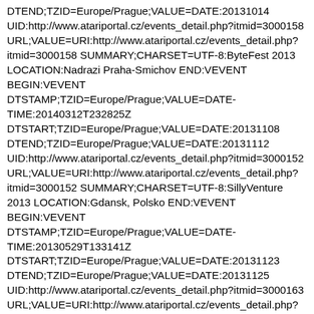DTEND;TZID=Europe/Prague;VALUE=DATE:20131014 UID:http://www.atariportal.cz/events_detail.php?itmid=3000158 URL;VALUE=URI:http://www.atariportal.cz/events_detail.php?itmid=3000158 SUMMARY;CHARSET=UTF-8:ByteFest 2013 LOCATION:Nadrazi Praha-Smichov END:VEVENT BEGIN:VEVENT DTSTAMP;TZID=Europe/Prague;VALUE=DATE-TIME:20140312T232825Z DTSTART;TZID=Europe/Prague;VALUE=DATE:20131108 DTEND;TZID=Europe/Prague;VALUE=DATE:20131112 UID:http://www.atariportal.cz/events_detail.php?itmid=3000152 URL;VALUE=URI:http://www.atariportal.cz/events_detail.php?itmid=3000152 SUMMARY;CHARSET=UTF-8:SillyVenture 2013 LOCATION:Gdansk, Polsko END:VEVENT BEGIN:VEVENT DTSTAMP;TZID=Europe/Prague;VALUE=DATE-TIME:20130529T133141Z DTSTART;TZID=Europe/Prague;VALUE=DATE:20131123 DTEND;TZID=Europe/Prague;VALUE=DATE:20131125 UID:http://www.atariportal.cz/events_detail.php?itmid=3000163 URL;VALUE=URI:http://www.atariportal.cz/events_detail.php?itmid=3000163 SUMMARY;CHARSET=UTF-8:E-JagFest LOCATION:Duisburg / Nemecko END:VEVENT BEGIN:VEVENT DTSTAMP;TZID=Europe/Prague;VALUE=DATE-TIME:20131009T0156597...